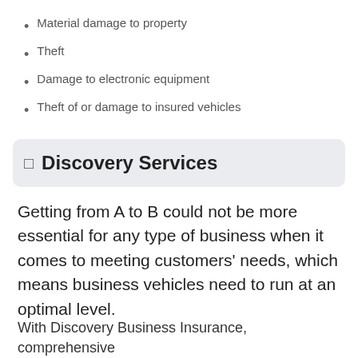Material damage to property
Theft
Damage to electronic equipment
Theft of or damage to insured vehicles
Discovery Services
Getting from A to B could not be more essential for any type of business when it comes to meeting customers' needs, which means business vehicles need to run at an optimal level.
With Discovery Business Insurance, comprehensive